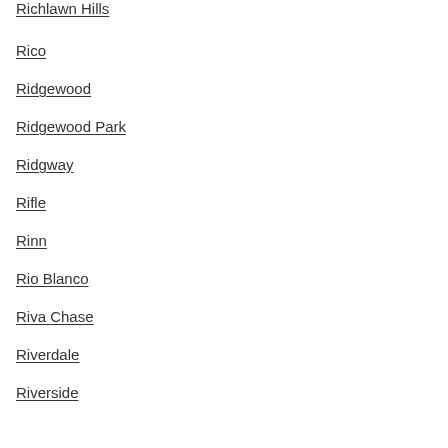Richlawn Hills
Rico
Ridgewood
Ridgewood Park
Ridgway
Rifle
Rinn
Rio Blanco
Riva Chase
Riverdale
Riverside